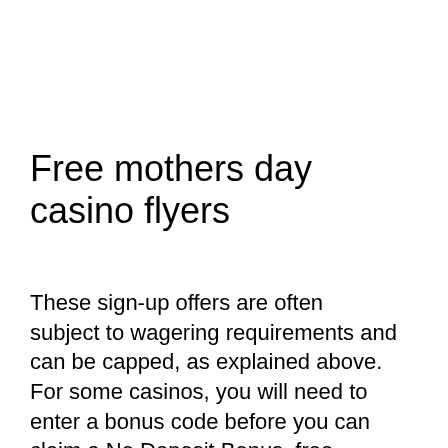Free mothers day casino flyers
These sign-up offers are often subject to wagering requirements and can be capped, as explained above. For some casinos, you will need to enter a bonus code before you can claim a No Deposit Bonus, free mothers day casino flyers. You usually have to do this while you're signing up. Once you finish the registration process, the bonus will be waiting in your account. You can find exclusive bonus codes in our featured offers so make sure you copy them and use them so that you dont't miss out!
Make sure to read their terms and